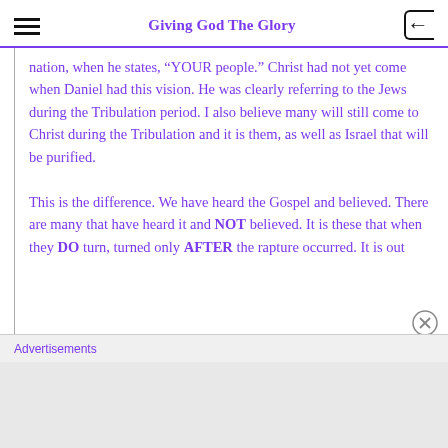Giving God The Glory
nation, when he states, “YOUR people.” Christ had not yet come when Daniel had this vision. He was clearly referring to the Jews during the Tribulation period. I also believe many will still come to Christ during the Tribulation and it is them, as well as Israel that will be purified.

This is the difference. We have heard the Gospel and believed. There are many that have heard it and NOT believed. It is these that when they DO turn, turned only AFTER the rapture occurred. It is out
Advertisements